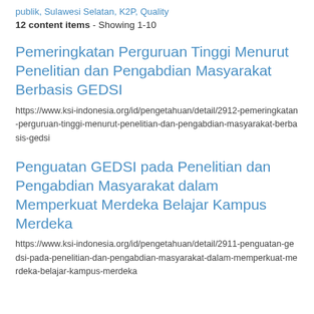publik, Sulawesi Selatan, K2P, Quality
12 content items - Showing 1-10
Pemeringkatan Perguruan Tinggi Menurut Penelitian dan Pengabdian Masyarakat Berbasis GEDSI
https://www.ksi-indonesia.org/id/pengetahuan/detail/2912-pemeringkatan-perguruan-tinggi-menurut-penelitian-dan-pengabdian-masyarakat-berbasis-gedsi
Penguatan GEDSI pada Penelitian dan Pengabdian Masyarakat dalam Memperkuat Merdeka Belajar Kampus Merdeka
https://www.ksi-indonesia.org/id/pengetahuan/detail/2911-penguatan-gedsi-pada-penelitian-dan-pengabdian-masyarakat-dalam-memperkuat-merdeka-belajar-kampus-merdeka